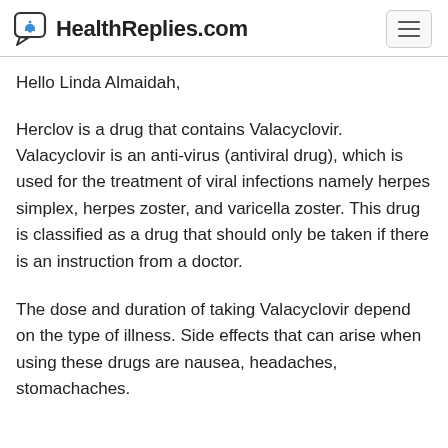HealthReplies.com
Hello Linda Almaidah,
Herclov is a drug that contains Valacyclovir. Valacyclovir is an anti-virus (antiviral drug), which is used for the treatment of viral infections namely herpes simplex, herpes zoster, and varicella zoster. This drug is classified as a drug that should only be taken if there is an instruction from a doctor.
The dose and duration of taking Valacyclovir depend on the type of illness. Side effects that can arise when using these drugs are nausea, headaches, stomachaches.